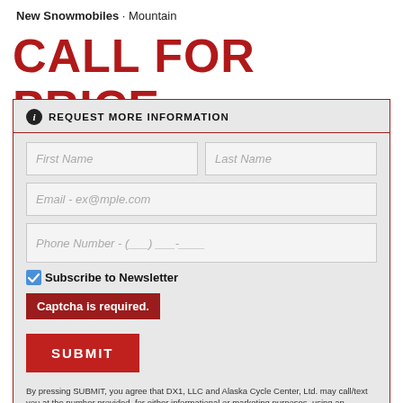New Snowmobiles · Mountain
CALL FOR PRICE
ℹ REQUEST MORE INFORMATION
First Name
Last Name
Email - ex@mple.com
Phone Number - (___) ___-____
Subscribe to Newsletter
Captcha is required.
SUBMIT
By pressing SUBMIT, you agree that DX1, LLC and Alaska Cycle Center, Ltd. may call/text you at the number provided, for either informational or marketing purposes, using an automatic